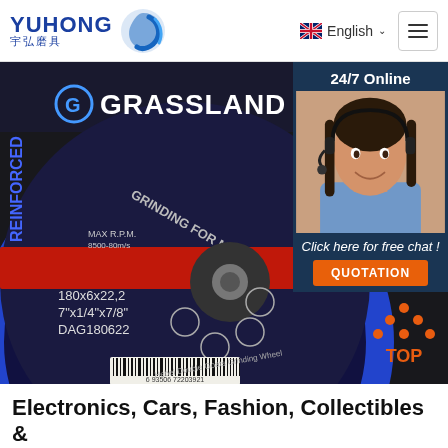YUHONG 宇弘磨具 | English | Menu
[Figure (photo): A grinding wheel disc labeled GRASSLAND, Grinding for Metal, 180x6x22.2, 7x1/4x7/8, DAG180622, with barcode. Hebei Double Goats Grinding Wheel brand. Blue and red disc on dark background.]
[Figure (photo): 24/7 Online chat overlay with smiling female customer service agent wearing headset, dark blue background, with 'Click here for free chat!' text and orange QUOTATION button.]
[Figure (illustration): Red TOP arrow icon with dots, back-to-top button.]
Electronics, Cars, Fashion, Collectibles & More...